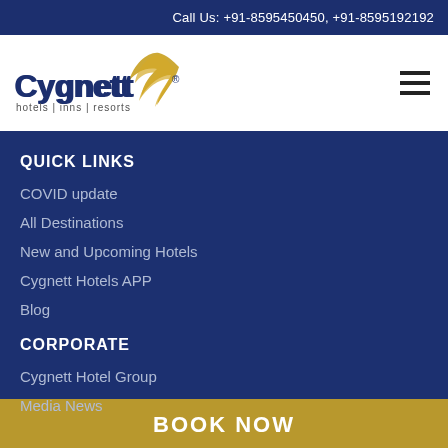Call Us: +91-8595450450, +91-8595192192
[Figure (logo): Cygnett hotels | inns | resorts logo with gold swan wing icon and navy blue text]
QUICK LINKS
COVID update
All Destinations
New and Upcoming Hotels
Cygnett Hotels APP
Blog
CORPORATE
Cygnett Hotel Group
Media News
BOOK NOW